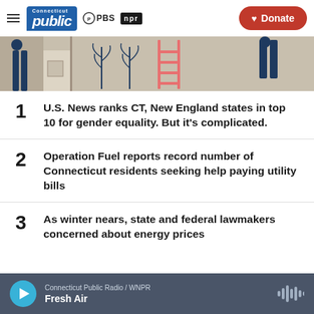Connecticut Public | PBS | NPR — Donate
[Figure (illustration): Decorative illustration showing stylized human figures with plants and a pink ladder on a tan/beige background]
1  U.S. News ranks CT, New England states in top 10 for gender equality. But it's complicated.
2  Operation Fuel reports record number of Connecticut residents seeking help paying utility bills
3  As winter nears, state and federal lawmakers concerned about energy prices
Connecticut Public Radio / WNPR — Fresh Air